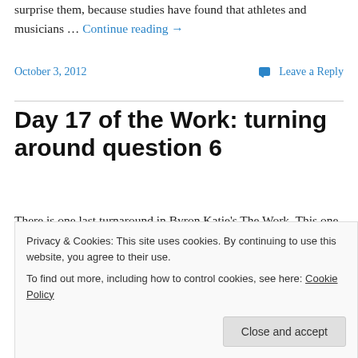surprise them, because studies have found that athletes and musicians … Continue reading →
October 3, 2012   Leave a Reply
Day 17 of the Work: turning around question 6
There is one last turnaround in Byron Katie's The Work. This one is sometimes overlooked. Back on Day 1, I filled out the Judge Your Neighbor worksheet. Question 6 asks:
Privacy & Cookies: This site uses cookies. By continuing to use this website, you agree to their use.
To find out more, including how to control cookies, see here: Cookie Policy
Close and accept